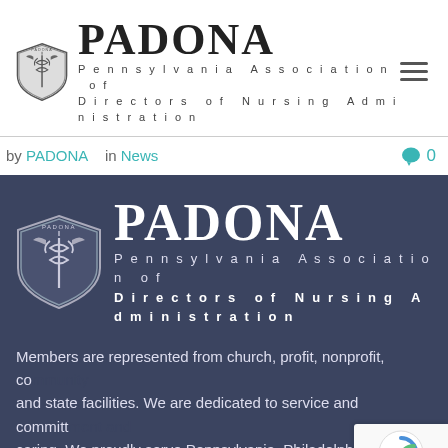[Figure (logo): PADONA logo with shield emblem and text 'PADONA Pennsylvania Association of Directors of Nursing Administration' in header area (light background)]
by PADONA  in News  0
[Figure (logo): PADONA logo with shield emblem and text 'PADONA Pennsylvania Association of Directors of Nursing Administration' on dark navy background]
Members are represented from church, profit, nonprofit, co... and state facilities. We are dedicated to service and committ... caring. We proudly serve Pennsylvania, Philadelphia PA, Pittsburgh...